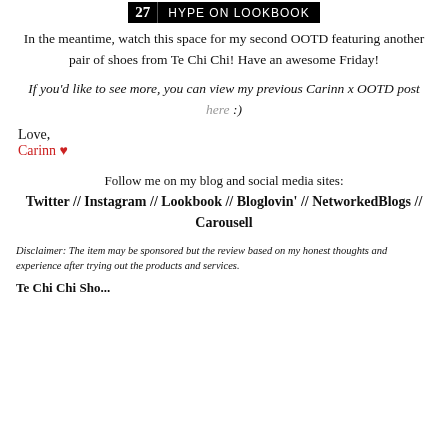[Figure (other): Badge showing '27 HYPE on LOOKBOOK' in black and white]
In the meantime, watch this space for my second OOTD featuring another pair of shoes from Te Chi Chi! Have an awesome Friday!
If you'd like to see more, you can view my previous Carinn x OOTD post here :)
Love,
Carinn ♥
Follow me on my blog and social media sites: Twitter // Instagram // Lookbook // Bloglovin' // NetworkedBlogs // Carousell
Disclaimer: The item may be sponsored but the review based on my honest thoughts and experience after trying out the products and services.
Te Chi Chi Sho...